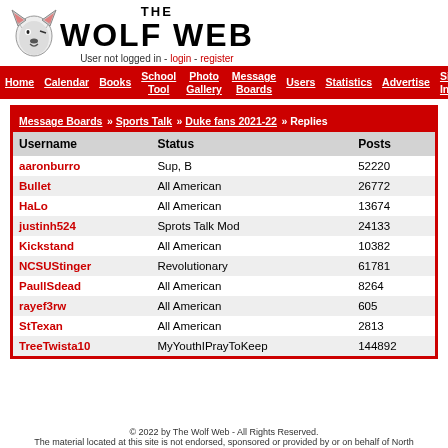The Wolf Web - User not logged in - login - register
Home | Calendar | Books | School Tool | Photo Gallery | Message Boards | Users | Statistics | Advertise | Site Info
| Username | Status | Posts |
| --- | --- | --- |
| aaronburro | Sup, B | 52220 |
| Bullet | All American | 26772 |
| HaLo | All American | 13674 |
| justinh524 | Sprots Talk Mod | 24133 |
| Kickstand | All American | 10382 |
| NCSUStinger | Revolutionary | 61781 |
| PaullSdead | All American | 8264 |
| rayef3rw | All American | 605 |
| StTexan | All American | 2813 |
| TreeTwista10 | MyYouthIPrayToKeep | 144892 |
© 2022 by The Wolf Web - All Rights Reserved. The material located at this site is not endorsed, sponsored or provided by or on behalf of North...